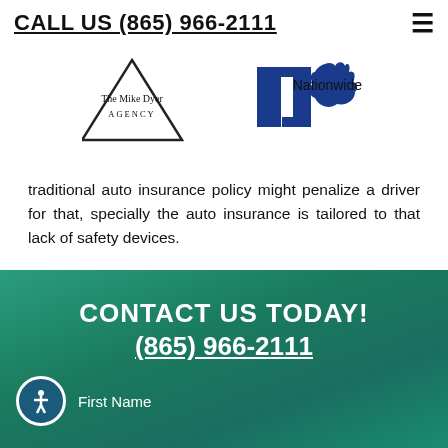CALL US (865) 966-2111
[Figure (logo): The Mike Dyer Agency logo (triangle shape) and Nationwide logo (eagle with N) side by side]
traditional auto insurance policy might penalize a driver for that, specially the auto insurance is tailored to that lack of safety devices.
CONTACT US TODAY!
(865) 966-2111
First Name